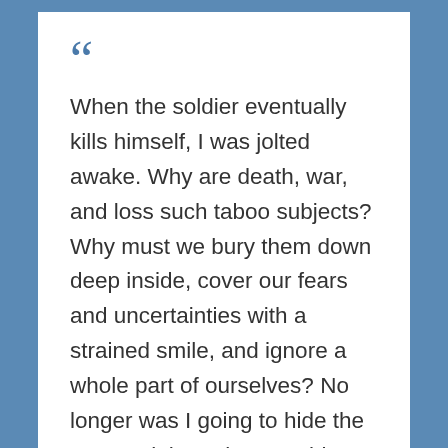“When the soldier eventually kills himself, I was jolted awake. Why are death, war, and loss such taboo subjects? Why must we bury them down deep inside, cover our fears and uncertainties with a strained smile, and ignore a whole part of ourselves? No longer was I going to hide the past and the pain. I wouldn’t give up because people were unwilling to listen. I would spin words into poetry and attempt to define the indefinable. Circumstances